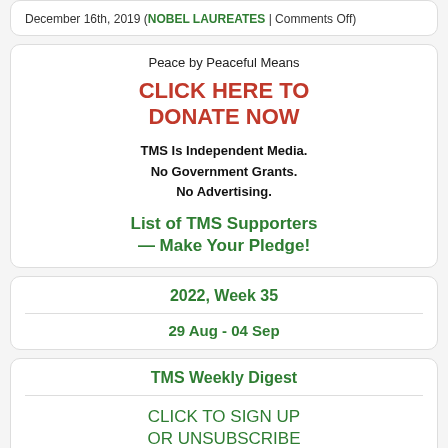December 16th, 2019 (NOBEL LAUREATES | Comments Off)
Peace by Peaceful Means
CLICK HERE TO DONATE NOW
TMS Is Independent Media. No Government Grants. No Advertising.
List of TMS Supporters — Make Your Pledge!
2022, Week 35
29 Aug - 04 Sep
TMS Weekly Digest
CLICK TO SIGN UP OR UNSUBSCRIBE